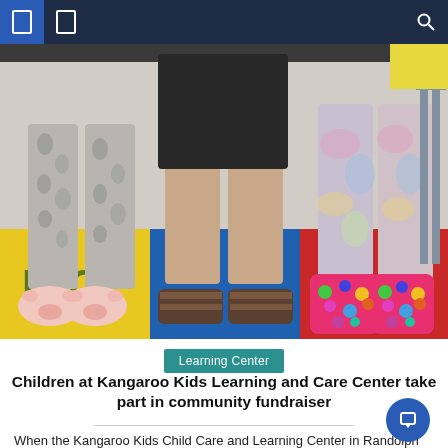[Figure (photo): Photo of three children standing on a colorful classroom rug, showing only their legs and feet. Left child wears grey bunny-print pajama pants and white pig slippers. Middle child wears dark shorts and brown sandals. Right child wears tie-dye pants and bright pink polka-dot boots. The rug has bright colors and letters visible including 'D' and 'O'.]
Learning Center
Children at Kangaroo Kids Learning and Care Center take part in community fundraiser
When the Kangaroo Kids Child Care and Learning Center in Randolph organized a take after children of families...